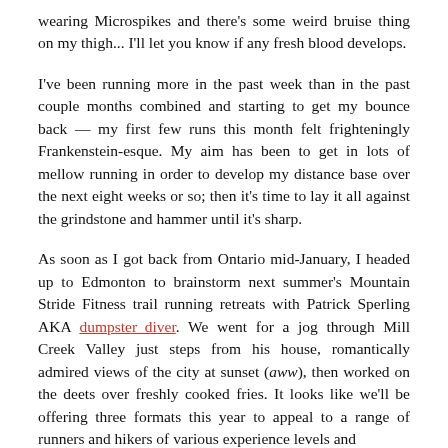wearing Microspikes and there's some weird bruise thing on my thigh... I'll let you know if any fresh blood develops.
I've been running more in the past week than in the past couple months combined and starting to get my bounce back — my first few runs this month felt frighteningly Frankenstein-esque. My aim has been to get in lots of mellow running in order to develop my distance base over the next eight weeks or so; then it's time to lay it all against the grindstone and hammer until it's sharp.
As soon as I got back from Ontario mid-January, I headed up to Edmonton to brainstorm next summer's Mountain Stride Fitness trail running retreats with Patrick Sperling AKA dumpster_diver. We went for a jog through Mill Creek Valley just steps from his house, romantically admired views of the city at sunset (aww), then worked on the deets over freshly cooked fries. It looks like we'll be offering three formats this year to appeal to a range of runners and hikers of various experience levels and